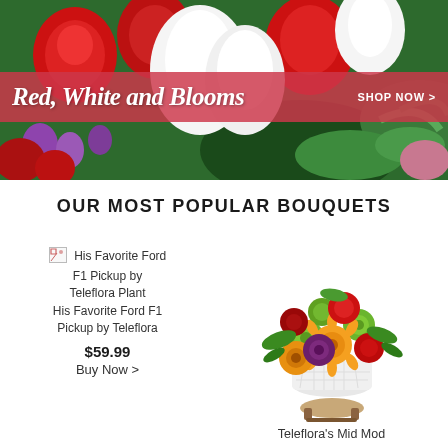[Figure (photo): Floral banner with red roses and white lilies background, pink/red overlay banner with cursive text 'Red, White and Blooms' and 'SHOP NOW >' link]
Red, White and Blooms
SHOP NOW >
OUR MOST POPULAR BOUQUETS
[Figure (photo): Broken image icon for His Favorite Ford F1 Pickup by Teleflora Plant]
His Favorite Ford F1 Pickup by Teleflora Plant His Favorite Ford F1 Pickup by Teleflora
$59.99
Buy Now >
[Figure (photo): Flower bouquet arrangement with orange gerbera daisies, red carnations, green chrysanthemums, and purple flowers in a white geometric textured vase on a wooden stand]
Teleflora's Mid Mod